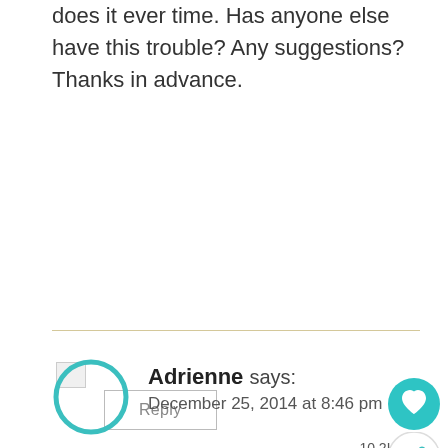does it ever time. Has anyone else have this trouble? Any suggestions? Thanks in advance.
Reply
Adrienne says:
December 25, 2014 at 8:46 pm
Yikes. I have no idea! I have seen others make recipes that are dairy free and made with erythritol so I am not sure. Did you try one of the thickeners like the gelatin have seen others use vodka.